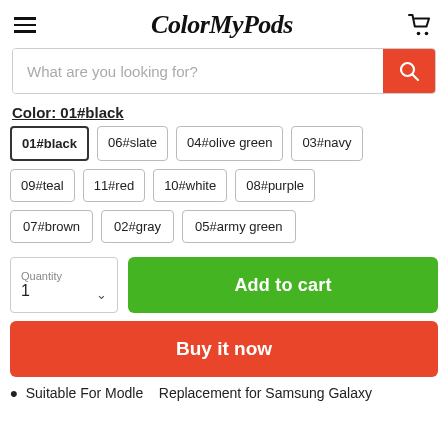ColorMyPods
What are you looking for?
Color: 01#black
01#black
06#slate
04#olive green
03#navy
09#teal
11#red
10#white
08#purple
07#brown
02#gray
05#army green
Quantity 1
Add to cart
Buy it now
Suitable For Modle   Replacement for Samsung Galaxy